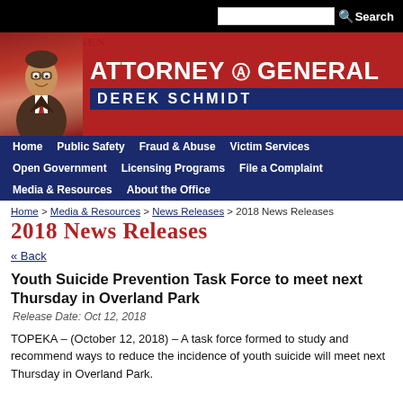Search
[Figure (illustration): Attorney General Derek Schmidt banner with photo and red background]
Home | Public Safety | Fraud & Abuse | Victim Services | Open Government | Licensing Programs | File a Complaint | Media & Resources | About the Office
Home > Media & Resources > News Releases > 2018 News Releases
2018 News Releases
« Back
Youth Suicide Prevention Task Force to meet next Thursday in Overland Park
Release Date: Oct 12, 2018
TOPEKA – (October 12, 2018) – A task force formed to study and recommend ways to reduce the incidence of youth suicide will meet next Thursday in Overland Park.